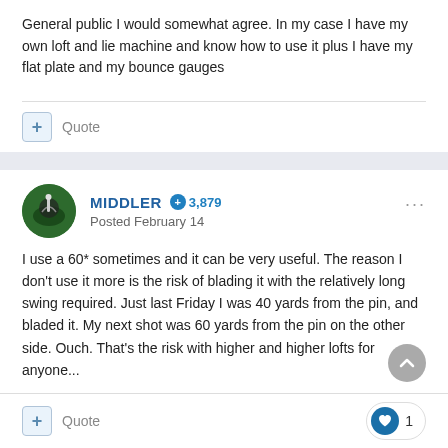General public I would somewhat agree. In my case I have my own loft and lie machine and know how to use it plus I have my flat plate and my bounce gauges
+ Quote
MIDDLER  +3,879  Posted February 14
I use a 60* sometimes and it can be very useful. The reason I don't use it more is the risk of blading it with the relatively long swing required. Just last Friday I was 40 yards from the pin, and bladed it. My next shot was 60 yards from the pin on the other side. Ouch. That's the risk with higher and higher lofts for anyone...
+ Quote  ❤ 1